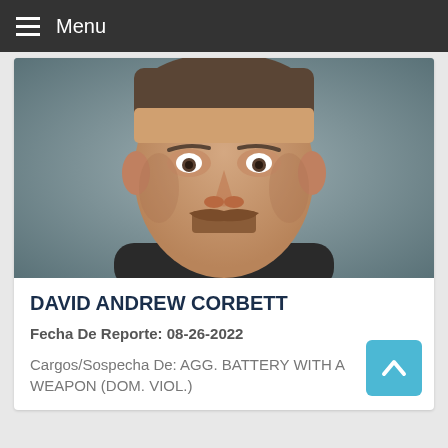Menu
[Figure (photo): Mugshot of David Andrew Corbett, a middle-aged white male with brown hair and a brown mustache, wearing a dark shirt, photographed against a gray background.]
DAVID ANDREW CORBETT
Fecha De Reporte: 08-26-2022
Cargos/Sospecha De: AGG. BATTERY WITH A WEAPON (DOM. VIOL.)